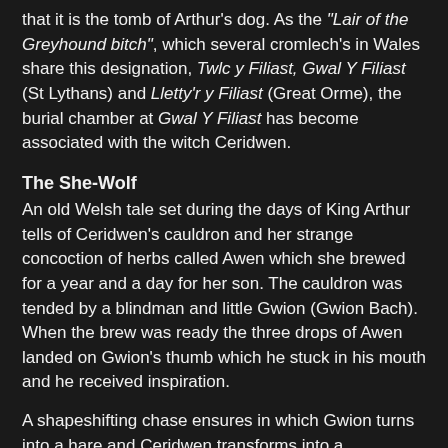that it is the tomb of Arthur's dog. As the "Lair of the Greyhound bitch", which several cromlech's in Wales share this designation, Twlc y Filiast, Gwal Y Filiast (St Lythans) and Lletty'r y Filiast (Great Orme), the burial chamber at Gwal Y Filiast has become associated with the witch Ceridwen.
The She-Wolf
An old Welsh tale set during the days of King Arthur tells of Ceridwen's cauldron and her strange concoction of herbs called Awen which she brewed for a year and a day for her son. The cauldron was tended by a blindman and little Gwion (Gwion Bach). When the brew was ready the three drops of Awen landed on Gwion's thumb which he stuck in his mouth and he received inspiration.
A shapeshifting chase ensures in which Gwion turns into a hare and Ceridwen transforms into a greyhound in pursuit down to the river. Eventually Ceridwen as a hen catches Gwion, now a grain of wheat, and she swallows him whole. Now pregnant she vows to kill the child at birth, but when the time comes he is so beautiful she can't bring herself to do it and instead places him in the sea, or a river depending on